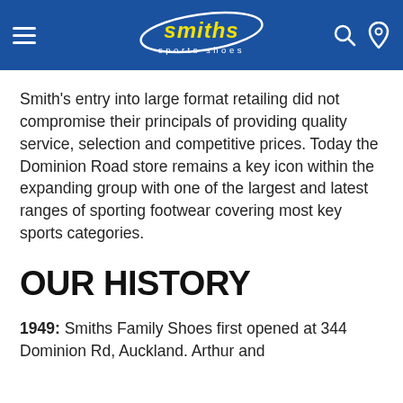Smiths Sports Shoes — site header with navigation
Smith's entry into large format retailing did not compromise their principals of providing quality service, selection and competitive prices. Today the Dominion Road store remains a key icon within the expanding group with one of the largest and latest ranges of sporting footwear covering most key sports categories.
OUR HISTORY
1949:  Smiths Family Shoes first opened at 344 Dominion Rd, Auckland.  Arthur and